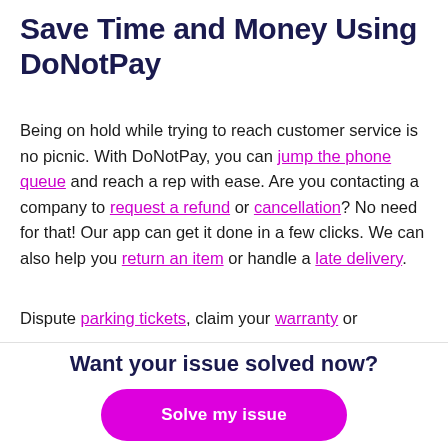Save Time and Money Using DoNotPay
Being on hold while trying to reach customer service is no picnic. With DoNotPay, you can jump the phone queue and reach a rep with ease. Are you contacting a company to request a refund or cancellation? No need for that! Our app can get it done in a few clicks. We can also help you return an item or handle a late delivery.
Dispute parking tickets, claim your warranty or
Want your issue solved now?
Solve my issue